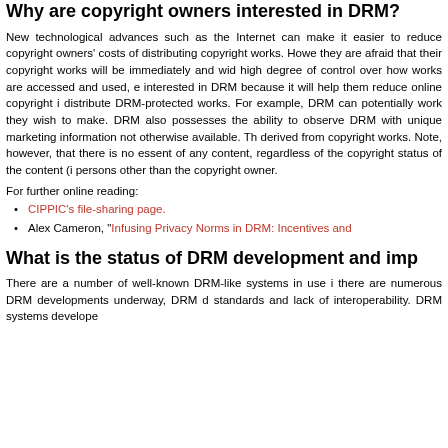Why are copyright owners interested in DRM?
New technological advances such as the Internet can make it easier to reduce copyright owners' costs of distributing copyright works. However, they are afraid that their copyright works will be immediately and widely copied. A high degree of control over how works are accessed and used, e.g. DRM. They are interested in DRM because it will help them reduce online copyright infringement and distribute DRM-protected works. For example, DRM can potentially control every copy of a work they wish to make. DRM also possesses the ability to observe users and provide DRM with unique marketing information not otherwise available. The profits can also be derived from copyright works. Note, however, that there is no essential connection to DRM of any content, regardless of the copyright status of the content (i.e. it can be used by persons other than the copyright owner.
For further online reading:
CIPPIC's file-sharing page.
Alex Cameron, "Infusing Privacy Norms in DRM: Incentives and
What is the status of DRM development and implementation?
There are a number of well-known DRM-like systems in use in the market, but there are numerous DRM developments underway, DRM development faces standards and lack of interoperability. DRM systems developed